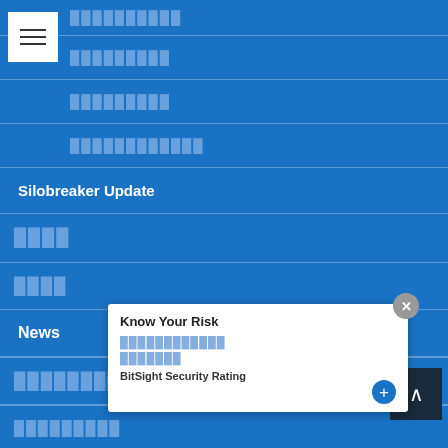[Figure (screenshot): Hamburger menu button (three horizontal lines) in white box]
██████████
█████████
█████████
████████████
Silobreaker Update
████
████
News
██████████
█████████
[Figure (screenshot): Popup overlay with title 'Know Your Risk', placeholder links, and 'BitSight Security Rating' label, with close and plus buttons]